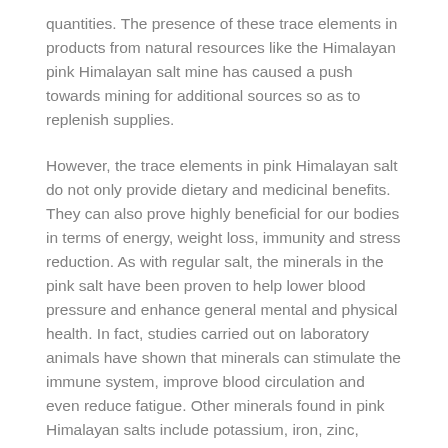quantities. The presence of these trace elements in products from natural resources like the Himalayan pink Himalayan salt mine has caused a push towards mining for additional sources so as to replenish supplies.
However, the trace elements in pink Himalayan salt do not only provide dietary and medicinal benefits. They can also prove highly beneficial for our bodies in terms of energy, weight loss, immunity and stress reduction. As with regular salt, the minerals in the pink salt have been proven to help lower blood pressure and enhance general mental and physical health. In fact, studies carried out on laboratory animals have shown that minerals can stimulate the immune system, improve blood circulation and even reduce fatigue. Other minerals found in pink Himalayan salts include potassium, iron, zinc, manganese, sodium, selenium, phosphorus and calcium.
While it is not possible to attribute the increased